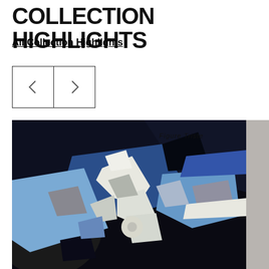COLLECTION HIGHLIGHTS
All Collection Highlights
[Figure (other): Navigation arrows: left chevron button and right chevron button side by side]
[Figure (illustration): Cubist painting in blue, black, white, and grey tones with geometric fragmented shapes. Text 'Figure Triste' inscribed near top right.]